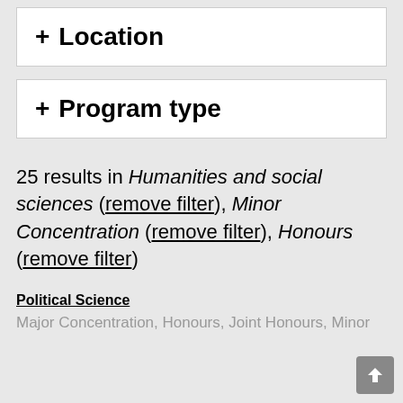+ Location
+ Program type
25 results in Humanities and social sciences (remove filter), Minor Concentration (remove filter), Honours (remove filter)
Political Science
Major Concentration, Honours, Joint Honours, Minor